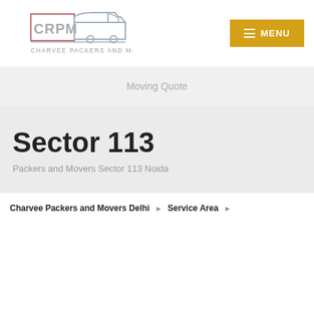[Figure (logo): CRPM Charvee Packers and Movers logo with truck silhouette]
MENU
Moving Quote
Sector 113
Packers and Movers Sector 113 Noida
Charvee Packers and Movers Delhi ▶ Service Area ▶